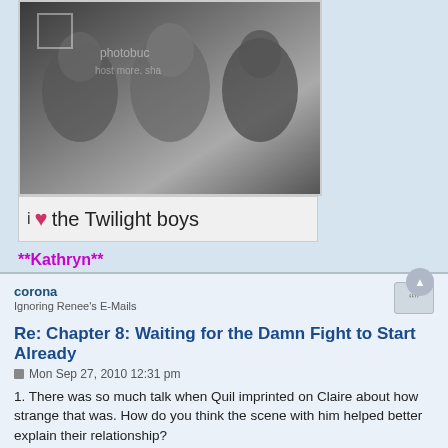[Figure (photo): Black and white photo of three young men (Twilight actors), with a Photobucket watermark overlay. Below the photo is a decorative banner reading 'i ♥ the Twilight boys' in handwritten style.]
**Kathryn**
corona
Ignoring Renee's E-Mails
Re: Chapter 8: Waiting for the Damn Fight to Start Already
Mon Sep 27, 2010 12:31 pm
1. There was so much talk when Quil imprinted on Claire about how strange that was. How do you think the scene with him helped better explain their relationship?
Their interaction demonstrated that there was clearly nothing sinister or depraved about that relationship. Still, the imprinting business is uncomfortable. Everything appears to be OK (except for Leah's broken heart), but then along comes Claire, and suddenly there are a lot of open questions. If there are no apparent lower age